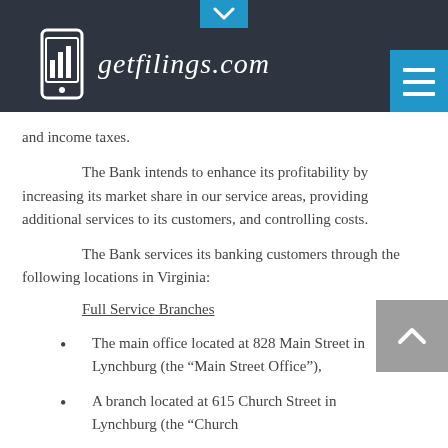getfilings.com
and income taxes.
The Bank intends to enhance its profitability by increasing its market share in our service areas, providing additional services to its customers, and controlling costs.
The Bank services its banking customers through the following locations in Virginia:
Full Service Branches
The main office located at 828 Main Street in Lynchburg (the “Main Street Office”),
A branch located at 615 Church Street in Lynchburg (the “Church